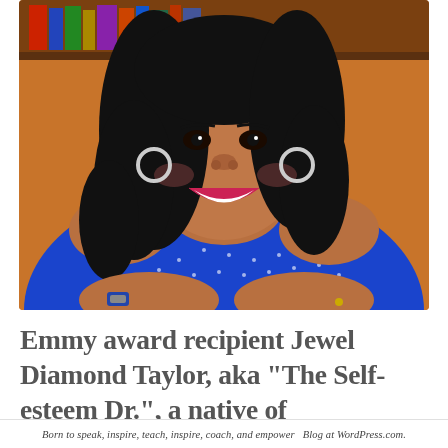[Figure (photo): Portrait photo of Jewel Diamond Taylor, a woman with long curly black hair wearing a bright blue off-shoulder top with white dots, smiling broadly, seated with arms crossed, with bookshelves and decorative figurines in background]
Emmy award recipient Jewel Diamond Taylor, aka "The Self-esteem Dr.", a native of
Born to speak, inspire, teach, inspire, coach, and empower  Blog at WordPress.com.